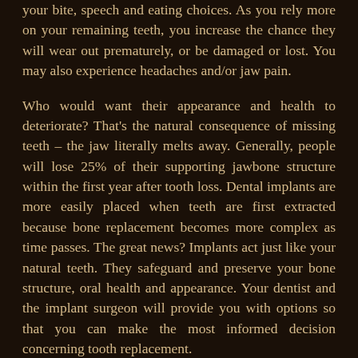your bite, speech and eating choices. As you rely more on your remaining teeth, you increase the chance they will wear out prematurely, or be damaged or lost. You may also experience headaches and/or jaw pain.
Who would want their appearance and health to deteriorate? That's the natural consequence of missing teeth – the jaw literally melts away. Generally, people will lose 25% of their supporting jawbone structure within the first year after tooth loss. Dental implants are more easily placed when teeth are first extracted because bone replacement becomes more complex as time passes. The great news? Implants act just like your natural teeth. They safeguard and preserve your bone structure, oral health and appearance. Your dentist and the implant surgeon will provide you with options so that you can make the most informed decision concerning tooth replacement.
Tooth Replacement Options